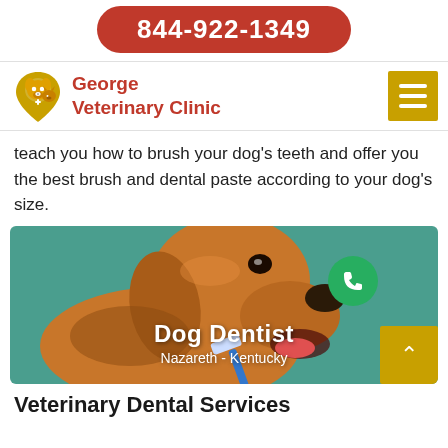844-922-1349
[Figure (logo): George Veterinary Clinic logo with golden dog/pet silhouette icon]
teach you how to brush your dog's teeth and offer you the best brush and dental paste according to your dog's size.
[Figure (photo): Golden retriever dog having its teeth brushed with a blue toothbrush, on a teal background, with overlay text 'Dog Dentist Nazareth - Kentucky' and a green phone icon]
Veterinary Dental Services